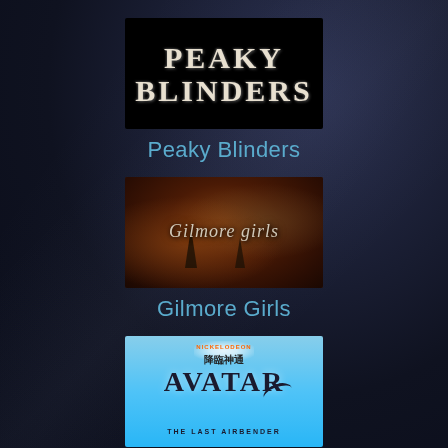[Figure (photo): Peaky Blinders TV show logo — white distressed serif text on black background]
Peaky Blinders
[Figure (photo): Gilmore Girls TV show title card — cursive white text over aerial autumn town view]
Gilmore Girls
[Figure (photo): Avatar: The Last Airbender Nickelodeon logo on blue sky background with Chinese characters]